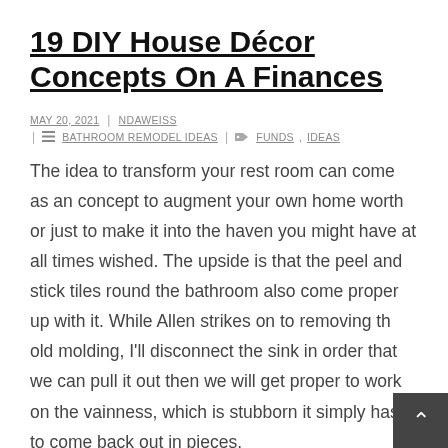19 DIY House Décor Concepts On A Finances
MAY 20, 2021 | NDAWEISS | BATHROOM REMODEL IDEAS | FUNDS, IDEAS
The idea to transform your rest room can come as an concept to augment your own home worth or just to make it into the haven you might have at all times wished. The upside is that the peel and stick tiles round the bathroom also come proper up with it. While Allen strikes on to removing th old molding, I'll disconnect the sink in order that we can pull it out then we will get proper to work on the vainness, which is stubborn it simply has to come back out in pieces.